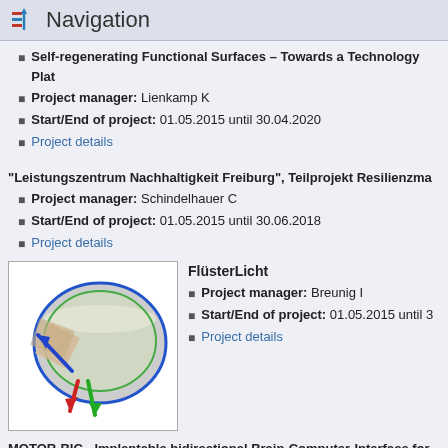Navigation
Self-regenerating Functional Surfaces – Towards a Technology Plat...
Project manager: Lienkamp K
Start/End of project: 01.05.2015 until 30.04.2020
Project details
"Leistungszentrum Nachhaltigkeit Freiburg", Teilprojekt Resilienzma...
Project manager: Schindelhauer C
Start/End of project: 01.05.2015 until 30.06.2018
Project details
[Figure (illustration): 3D rendering of an optical lens with colored arrows (blue, red, green) representing light directions]
FlüsterLicht
Project manager: Breunig I
Start/End of project: 01.05.2015 until ...
Project details
MOTOR-BIC - Implantable bidirectional Brain-Computer-Interface for...
Project manager: Prof. Dr. Thomas Stieglitz
Start/End of project: 01.05.2015 until 30.04.2018
Project details